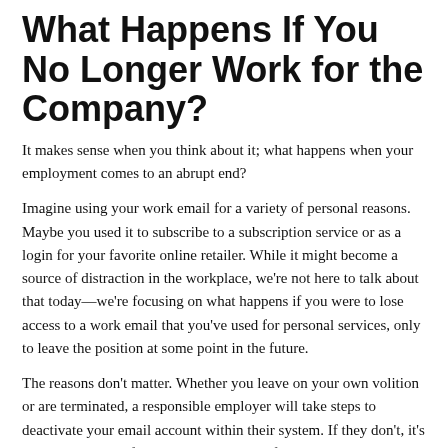What Happens If You No Longer Work for the Company?
It makes sense when you think about it; what happens when your employment comes to an abrupt end?
Imagine using your work email for a variety of personal reasons. Maybe you used it to subscribe to a subscription service or as a login for your favorite online retailer. While it might become a source of distraction in the workplace, we're not here to talk about that today—we're focusing on what happens if you were to lose access to a work email that you've used for personal services, only to leave the position at some point in the future.
The reasons don't matter. Whether you leave on your own volition or are terminated, a responsible employer will take steps to deactivate your email account within their system. If they don't, it's a clear violation of cybersecurity policy. If you